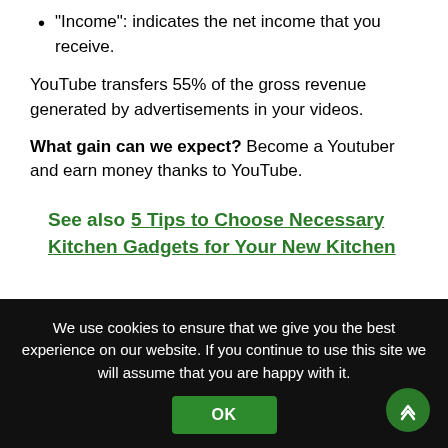“Income”: indicates the net income that you receive.
YouTube transfers 55% of the gross revenue generated by advertisements in your videos.
What gain can we expect? Become a Youtuber and earn money thanks to YouTube.
See also  5 Tips to Choose Necessary Kitchen Gadgets for Your New Kitchen
We use cookies to ensure that we give you the best experience on our website. If you continue to use this site we will assume that you are happy with it.